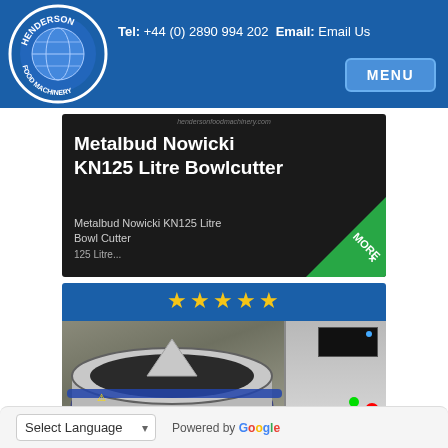Henderson Food Machinery — Tel: +44 (0) 2890 994 202 Email: Email Us
[Figure (screenshot): Henderson Food Machinery logo — circular blue badge with globe and text HENDERSON FOOD MACHINERY]
[Figure (screenshot): Product card: Metalbud Nowicki KN125 Litre Bowlcutter — black card with product title and subtitle, green 'MORE+' badge in corner]
[Figure (photo): Product photo of Metalbud Nowicki KN125 Litre Bowl Cutter, stainless steel bowl cutter machine with 5 gold star rating at top on blue banner]
Select Language  Powered by Google